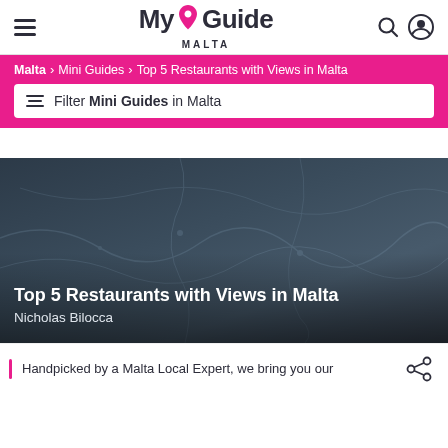My Guide MALTA
Malta > Mini Guides > Top 5 Restaurants with Views in Malta
Filter Mini Guides in Malta
[Figure (photo): Dark hero image with faint map-like decorative lines in dark blue-grey tones, overlaid with white text reading 'Top 5 Restaurants with Views in Malta' and author name 'Nicholas Bilocca']
Top 5 Restaurants with Views in Malta
Nicholas Bilocca
Handpicked by a Malta Local Expert, we bring you our